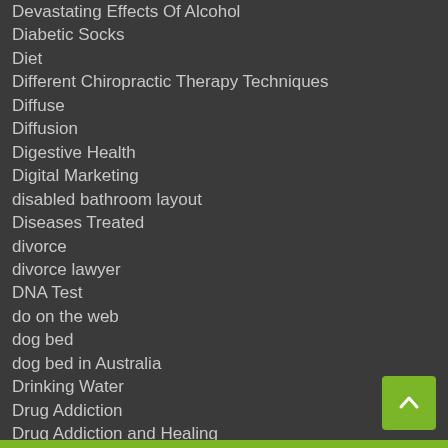Devastating Effects Of Alcohol
Diabetic Socks
Diet
Different Chiropractic Therapy Techniques
Diffuse
Diffusion
Digestive Health
Digital Marketing
disabled bathroom layout
Diseases Treated
divorce
divorce lawyer
DNA Test
do on the web
dog bed
dog bed in Australia
Drinking Water
Drug Addiction
Drug Addiction and Healing
Drugs
Dry Eye
Dry Eye Issues
Dubbo
Ear Nose and Throat
Eco-Friendly
Education
Effects of Applying Coaching
Effects of Applying Counseling
Effects of Applying Mentoring
Elderly Parents